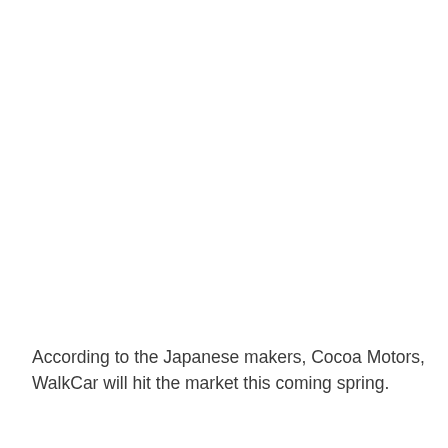According to the Japanese makers, Cocoa Motors, WalkCar will hit the market this coming spring.